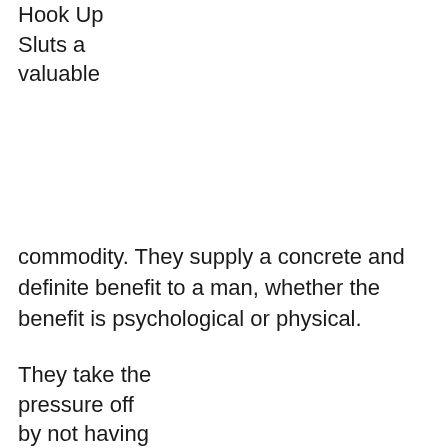Hook Up Sluts a valuable
commodity. They supply a concrete and definite benefit to a man, whether the benefit is psychological or physical.
They take the pressure off by not having to engage in a sexual act